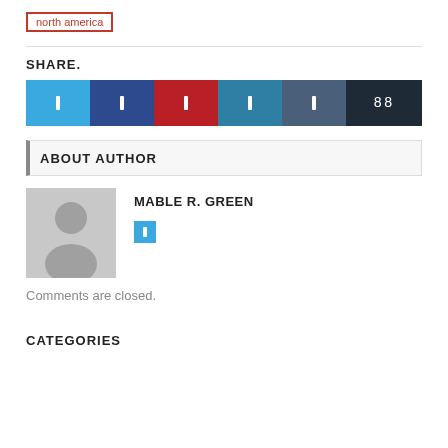north america
SHARE.
[Figure (other): Social sharing buttons: Twitter (blue), Facebook (dark blue), Pinterest (red), LinkedIn (teal), VK (dark slate), share count showing 88 (dark)]
ABOUT AUTHOR
[Figure (photo): Generic placeholder avatar of a person silhouette in gray]
MABLE R. GREEN
Comments are closed.
CATEGORIES